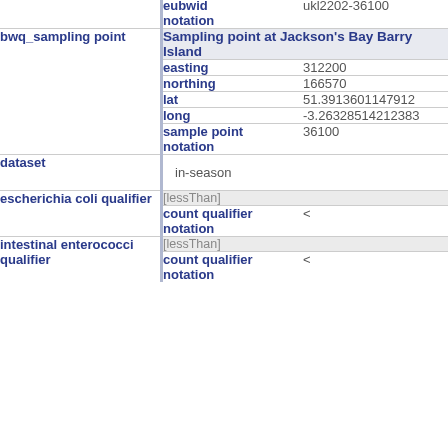| eubwid notation | ukl2202-36100 |
| bwq_sampling point | Sampling point at Jackson's Bay Barry Island |
| easting | 312200 |
| northing | 166570 |
| lat | 51.3913601147912 |
| long | -3.26328514212383 |
| sample point notation | 36100 |
| dataset | in-season |
| escherichia coli qualifier | [lessThan] |
| count qualifier notation | < |
| intestinal enterococci qualifier | [lessThan] |
| count qualifier notation | < |